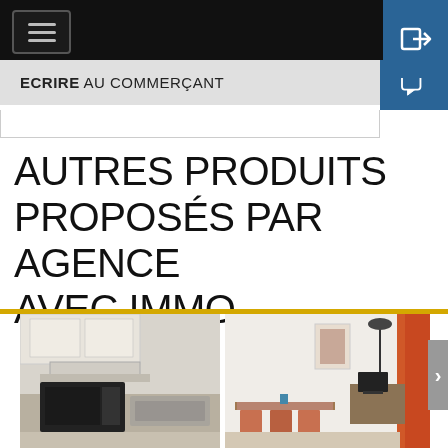Navigation bar with hamburger menu and login button
ECRIRE AU COMMERÇANT
AUTRES PRODUITS PROPOSÉS PAR AGENCE AVEC IMMO
[Figure (photo): Interior photo of an apartment showing a kitchen with white cabinets, black microwave, and a living/dining area with table, chairs, and a floor lamp]